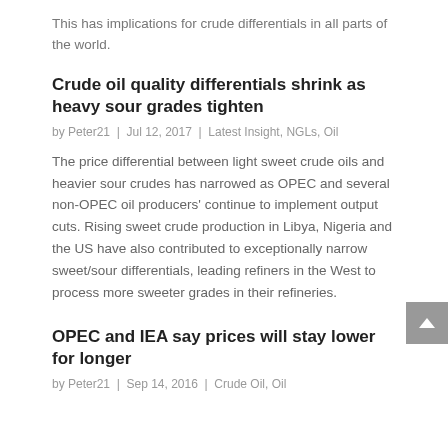This has implications for crude differentials in all parts of the world.
Crude oil quality differentials shrink as heavy sour grades tighten
by Peter21  |  Jul 12, 2017  |  Latest Insight, NGLs, Oil
The price differential between light sweet crude oils and heavier sour crudes has narrowed as OPEC and several non-OPEC oil producers' continue to implement output cuts. Rising sweet crude production in Libya, Nigeria and the US have also contributed to exceptionally narrow sweet/sour differentials, leading refiners in the West to process more sweeter grades in their refineries.
OPEC and IEA say prices will stay lower for longer
by Peter21  |  Sep 14, 2016  |  Crude Oil, Oil